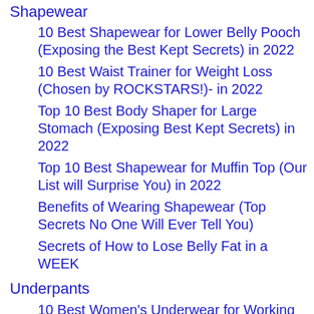Shapewear
10 Best Shapewear for Lower Belly Pooch (Exposing the Best Kept Secrets) in 2022
10 Best Waist Trainer for Weight Loss (Chosen by ROCKSTARS!)- in 2022
Top 10 Best Body Shaper for Large Stomach (Exposing Best Kept Secrets) in 2022
Top 10 Best Shapewear for Muffin Top (Our List will Surprise You) in 2022
Benefits of Wearing Shapewear (Top Secrets No One Will Ever Tell You)
Secrets of How to Lose Belly Fat in a WEEK
Underpants
10 Best Women's Underwear for Working Out (Surefire Choices!) in 2020
11 Best Women's Underwear in 2020 (that'll